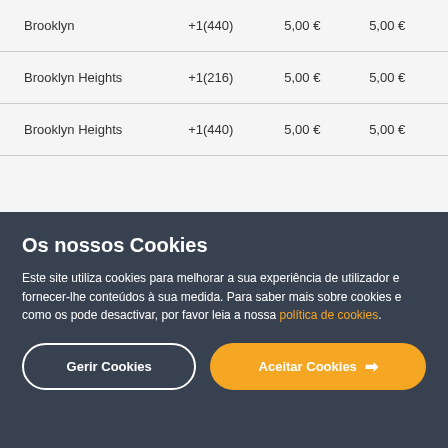| Brooklyn | +1(440) | 5,00 € | 5,00 € |
| Brooklyn Heights | +1(216) | 5,00 € | 5,00 € |
| Brooklyn Heights | +1(440) | 5,00 € | 5,00 € |
Os nossos Cookies
Este site utiliza cookies para melhorar a sua experiência de utilizador e fornecer-lhe conteúdos à sua medida. Para saber mais sobre cookies e como os pode desactivar, por favor leia a nossa política de cookies.